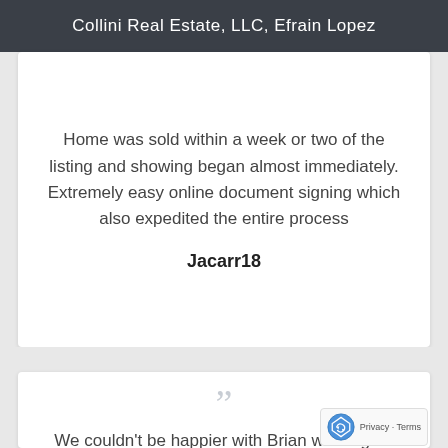Collini Real Estate, LLC, Efrain Lopez
Home was sold within a week or two of the listing and showing began almost immediately. Extremely easy online document signing which also expedited the entire process
Jacarr18
We couldn't be happier with Brian working on our behalf. His knowledge of the market and real estate expertise were a comfort throughout the process. He was